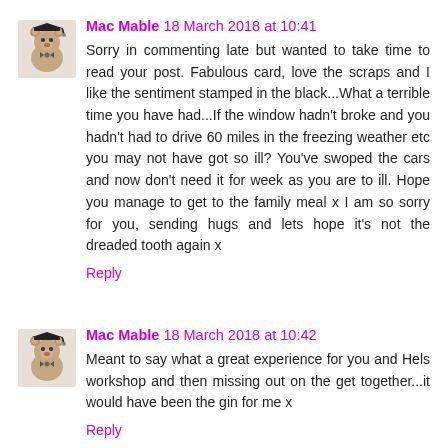[Figure (photo): Avatar image of a teddy bear wearing a graduation cap]
Mac Mable 18 March 2018 at 10:41
Sorry in commenting late but wanted to take time to read your post. Fabulous card, love the scraps and I like the sentiment stamped in the black...What a terrible time you have had...If the window hadn't broke and you hadn't had to drive 60 miles in the freezing weather etc you may not have got so ill? You've swoped the cars and now don't need it for week as you are to ill. Hope you manage to get to the family meal x I am so sorry for you, sending hugs and lets hope it's not the dreaded tooth again x
Reply
[Figure (photo): Avatar image of a teddy bear wearing a graduation cap]
Mac Mable 18 March 2018 at 10:42
Meant to say what a great experience for you and Hels workshop and then missing out on the get together...it would have been the gin for me x
Reply